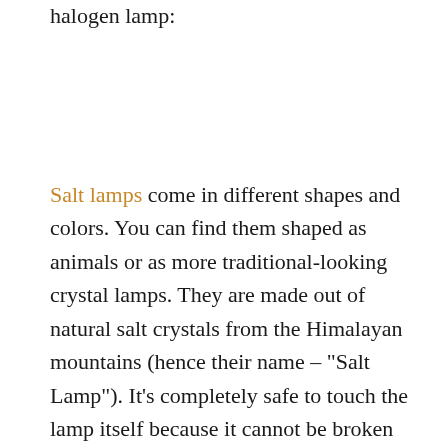halogen lamp:
Salt lamps come in different shapes and colors. You can find them shaped as animals or as more traditional-looking crystal lamps. They are made out of natural salt crystals from the Himalayan mountains (hence their name – “Salt Lamp”). It’s completely safe to touch the lamp itself because it cannot be broken apart technically or chemically (it’s still salt). Some people even use these lamps to decorate their tables. They’re very versatile because you can use them for many different purposes.